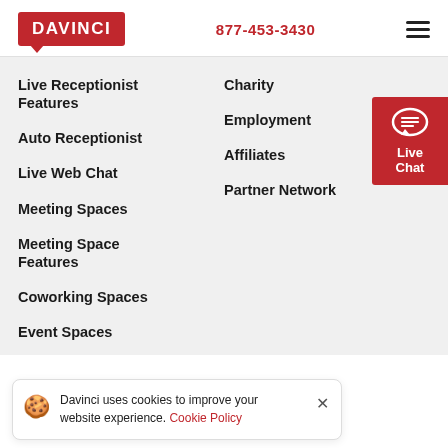DAVINCI | 877-453-3430
Live Receptionist Features
Charity
Auto Receptionist
Employment
Live Web Chat
Affiliates
Meeting Spaces
Partner Network
Meeting Space Features
Coworking Spaces
Event Spaces
Davinci uses cookies to improve your website experience. Cookie Policy